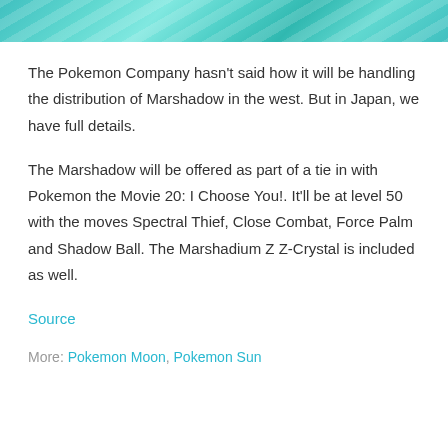[Figure (photo): Top banner image showing swirling teal and white colors, likely from a Pokemon movie promotional image.]
The Pokemon Company hasn't said how it will be handling the distribution of Marshadow in the west. But in Japan, we have full details.
The Marshadow will be offered as part of a tie in with Pokemon the Movie 20: I Choose You!. It'll be at level 50 with the moves Spectral Thief, Close Combat, Force Palm and Shadow Ball. The Marshadium Z Z-Crystal is included as well.
Source
More: Pokemon Moon, Pokemon Sun